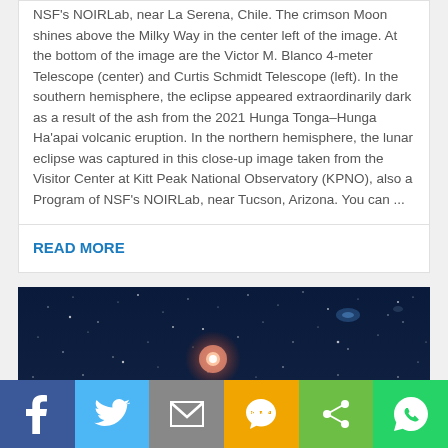NSF's NOIRLab, near La Serena, Chile. The crimson Moon shines above the Milky Way in the center left of the image. At the bottom of the image are the Victor M. Blanco 4-meter Telescope (center) and Curtis Schmidt Telescope (left). In the southern hemisphere, the eclipse appeared extraordinarily dark as a result of the ash from the 2021 Hunga Tonga–Hunga Ha'apai volcanic eruption. In the northern hemisphere, the lunar eclipse was captured in this close-up image taken from the Visitor Center at Kitt Peak National Observatory (KPNO), also a Program of NSF's NOIRLab, near Tucson, Arizona. You can ...
READ MORE
[Figure (photo): Night sky photograph showing a bright reddish star (or planet) glowing prominently against a dark blue starfield sky filled with many smaller stars. The horizon at the bottom shows silhouettes of rocky terrain or trees. The upper portion of the image shows additional faint stars and possibly a distant galaxy.]